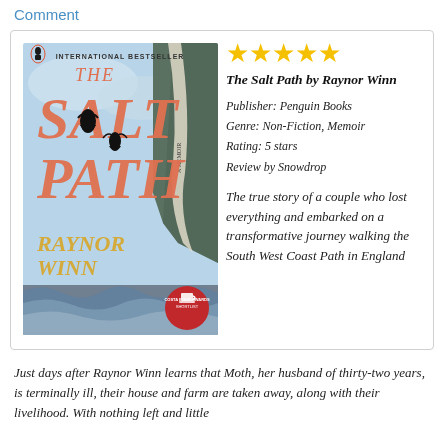Comment
[Figure (photo): Book cover of 'The Salt Path' by Raynor Winn, Penguin Books international bestseller edition, showing seabirds, coastal cliffs, waves, and title in salmon/coral and gold lettering.]
★★★★★
The Salt Path by Raynor Winn
Publisher: Penguin Books
Genre: Non-Fiction, Memoir
Rating: 5 stars
Review by Snowdrop

The true story of a couple who lost everything and embarked on a transformative journey walking the South West Coast Path in England
Just days after Raynor Winn learns that Moth, her husband of thirty-two years, is terminally ill, their house and farm are taken away, along with their livelihood. With nothing left and little